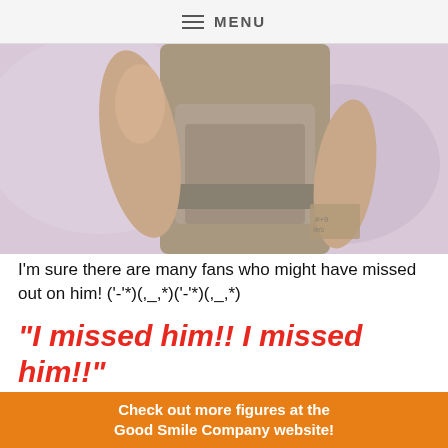≡ MENU
[Figure (photo): Close-up of a figure/statue torso wearing a textured grey outfit, with arms visible, against a soft pink/purple blurred background.]
I'm sure there are many fans who might have missed out on him! ('-'*)(,_,*)('-'*)(,_,*)
"I missed him!! I missed him!!"
[Figure (photo): A figure/statue standing against a background of pink and purple confetti or flower petals.]
Check out more figures at the Good Smile Company website!